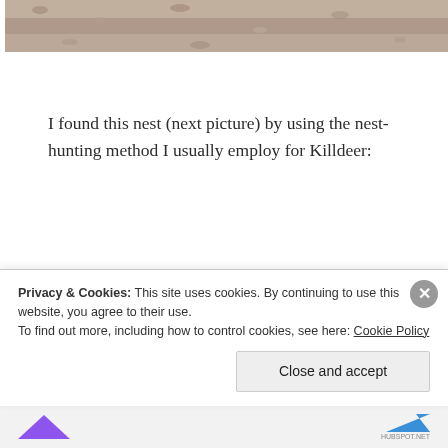[Figure (photo): Partial view of a gravelly ground/field surface, cropped at top of page]
I found this nest (next picture) by using the nest-hunting method I usually employ for Killdeer:
paying careful attention to the area of the field where a pair of Killdeer is “hanging out” in late March/early April;
Privacy & Cookies: This site uses cookies. By continuing to use this website, you agree to their use.
To find out more, including how to control cookies, see here: Cookie Policy
Close and accept